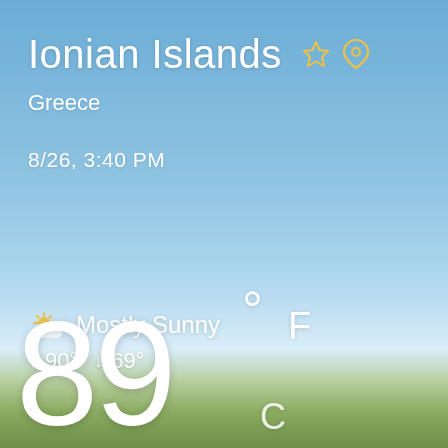[Figure (screenshot): Weather app screenshot showing a blue sky background with landscape at the bottom. Displays weather for Ionian Islands, Greece.]
Ionian Islands
Greece
8/26, 3:40 PM
Mostly Sunny
↑ 90° ↓ 69°
89° F